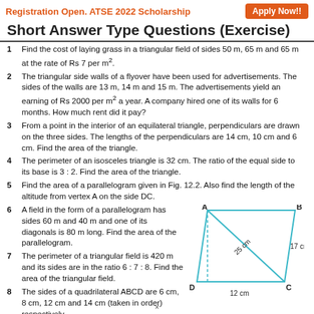Registration Open. ATSE 2022 Scholarship   Apply Now!!
Short Answer Type Questions (Exercise)
1  Find the cost of laying grass in a triangular field of sides 50 m, 65 m and 65 m at the rate of Rs 7 per m².
2  The triangular side walls of a flyover have been used for advertisements. The sides of the walls are 13 m, 14 m and 15 m. The advertisements yield an earning of Rs 2000 per m² a year. A company hired one of its walls for 6 months. How much rent did it pay?
3  From a point in the interior of an equilateral triangle, perpendiculars are drawn on the three sides. The lengths of the perpendiculars are 14 cm, 10 cm and 6 cm. Find the area of the triangle.
4  The perimeter of an isosceles triangle is 32 cm. The ratio of the equal side to its base is 3 : 2. Find the area of the triangle.
5  Find the area of a parallelogram given in Fig. 12.2. Also find the length of the altitude from vertex A on the side DC.
6  A field in the form of a parallelogram has sides 60 m and 40 m and one of its diagonals is 80 m long. Find the area of the parallelogram.
7  The perimeter of a triangular field is 420 m and its sides are in the ratio 6 : 7 : 8. Find the area of the triangular field.
8  The sides of a quadrilateral ABCD are 6 cm, 8 cm, 12 cm and 14 cm (taken in order) respectively.
[Figure (engineering-diagram): Parallelogram ABCD with vertices A (top-left), B (top-right), C (bottom-right), D (bottom-left). Diagonal from A to C labeled 25 cm. Right side BC labeled 17 cm. Bottom side DC labeled 12 cm. A dashed vertical altitude line is drawn from A to DC.]